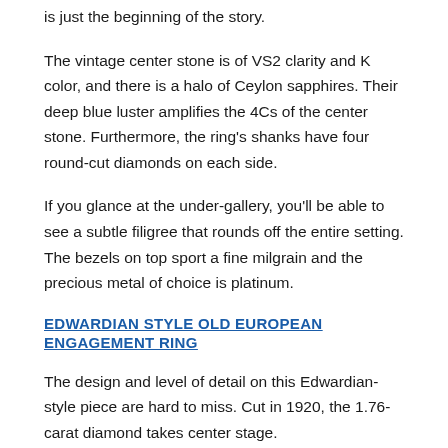is just the beginning of the story.
The vintage center stone is of VS2 clarity and K color, and there is a halo of Ceylon sapphires. Their deep blue luster amplifies the 4Cs of the center stone. Furthermore, the ring's shanks have four round-cut diamonds on each side.
If you glance at the under-gallery, you'll be able to see a subtle filigree that rounds off the entire setting. The bezels on top sport a fine milgrain and the precious metal of choice is platinum.
EDWARDIAN STYLE OLD EUROPEAN ENGAGEMENT RING
The design and level of detail on this Edwardian-style piece are hard to miss. Cut in 1920, the 1.76-carat diamond takes center stage.
As indicated in the name, it's old European cut, plus you get a halo of smaller diamonds that surround the main stone. However, the